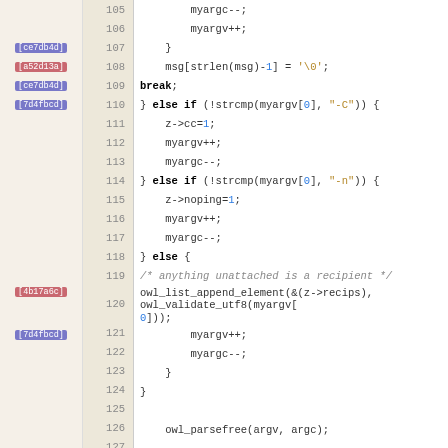[Figure (screenshot): Source code viewer showing C code lines 105-135 with commit annotations (colored labels like [ce7db4d], [a52d13a], [7d4fbcd], [4b17a6c], [1fe100c]) in the left gutter and line numbers in a second column. The code shows argument parsing logic including myargc--, myargv++, msg[strlen(msg)-1], break, else if branches checking strcmp for -C and -n flags, owl_list_append_element, owl_parsefree, badargs check with return(-1), and a final if condition checking z->class == NULL && z->inst == NULL && owl_list_get_size.]